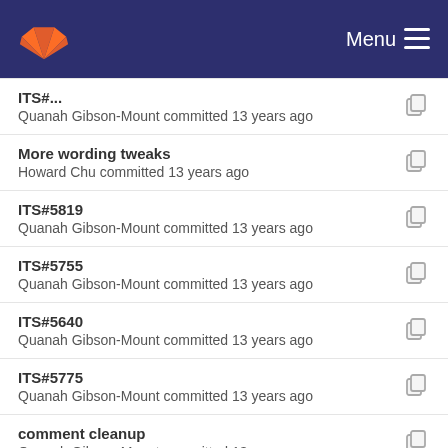GitLab — Menu
ITS#... (partial) — Quanah Gibson-Mount committed 13 years ago
More wording tweaks — Howard Chu committed 13 years ago
ITS#5819 — Quanah Gibson-Mount committed 13 years ago
ITS#5755 — Quanah Gibson-Mount committed 13 years ago
ITS#5640 — Quanah Gibson-Mount committed 13 years ago
ITS#5775 — Quanah Gibson-Mount committed 13 years ago
comment cleanup — Quanah Gibson-Mount committed 13 years ago
ITS#5710 — Quanah Gibson-Mount committed 13 years ago